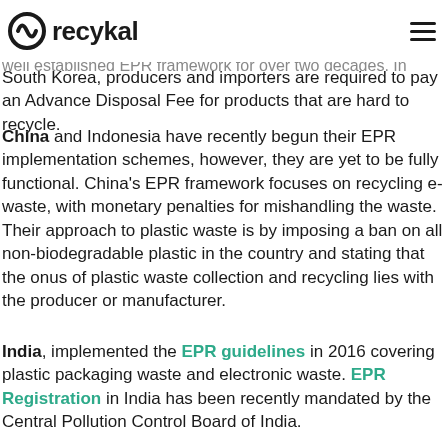recykal logo and navigation header
Japan & The Republic of Korea (South Korea) have had a well established EPR framework for over two decades. In South Korea, producers and importers are required to pay an Advance Disposal Fee for products that are hard to recycle.
China and Indonesia have recently begun their EPR implementation schemes, however, they are yet to be fully functional. China's EPR framework focuses on recycling e-waste, with monetary penalties for mishandling the waste. Their approach to plastic waste is by imposing a ban on all non-biodegradable plastic in the country and stating that the onus of plastic waste collection and recycling lies with the producer or manufacturer.
India, implemented the EPR guidelines in 2016 covering plastic packaging waste and electronic waste. EPR Registration in India has been recently mandated by the Central Pollution Control Board of India.